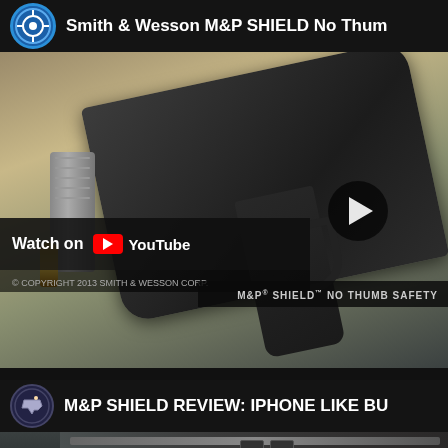[Figure (screenshot): YouTube video thumbnail for Smith & Wesson M&P SHIELD No Thumb Safety video, showing a handgun with magazine and ammunition bullets on a wooden surface, with a play button overlay and a 'Watch on YouTube' bar. Copyright Smith & Wesson Corp. Bottom text reads 'M&P SHIELD NO THUMB SAFETY'.]
[Figure (screenshot): YouTube video thumbnail for M&P SHIELD REVIEW: IPHONE LIKE BU... video, showing a close-up of an M&P Shield handgun with 'SHIELD' text visible on the slide.]